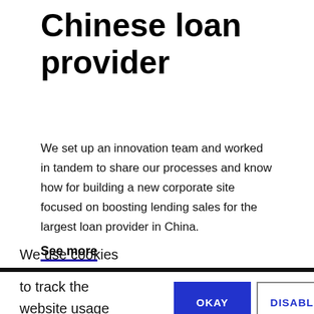Chinese loan provider
We set up an innovation team and worked in tandem to share our processes and know how for building a new corporate site focused on boosting lending sales for the largest loan provider in China.
See more
We use cookies
to track the website usage and user
OKAY
DISABLE